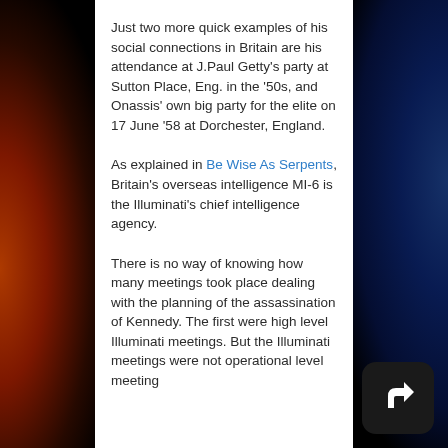Just two more quick examples of his social connections in Britain are his attendance at J.Paul Getty's party at Sutton Place, Eng. in the '50s, and Onassis' own big party for the elite on 17 June '58 at Dorchester, England.
As explained in Be Wise As Serpents, Britain's overseas intelligence MI-6 is the Illuminati's chief intelligence agency.
There is no way of knowing how many meetings took place dealing with the planning of the assassination of Kennedy. The first were high level Illuminati meetings. But the Illuminati meetings were not operational level meeting